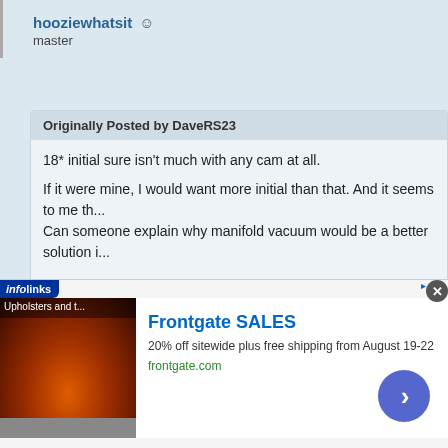hooziewhatsit 😐
master
Originally Posted by DaveRS23
18* initial sure isn't much with any cam at all.

If it were mine, I would want more initial than that. And it seems to me th...
Can someone explain why manifold vacuum would be a better solution i...
I think the main concern is whether the engine can crank and start with too much ini...
If the engine likes 20+ initial timing, but can't crank with that much, pretty much the o... some sort of start retard box.
If it does crank fine with 20+, then sure, limit the advance slots, and set the initial at...
...ral, the engine vacuum at idle needs to be higher than the vacuum o th...
[Figure (screenshot): Advertisement banner: infolinks badge, Frontgate SALES ad with outdoor furniture/fire pit image, '20% off sitewide plus free shipping from August 19-22', frontgate.com, blue arrow button, close button]